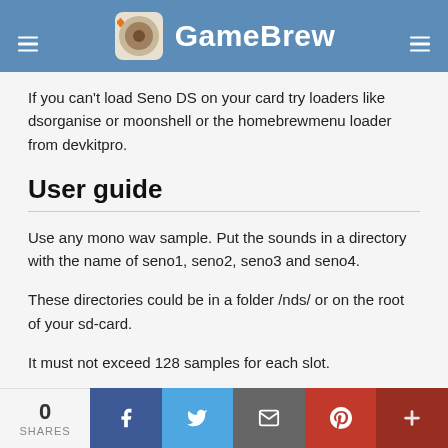GameBrew
If you can't load Seno DS on your card try loaders like dsorganise or moonshell or the homebrewmenu loader from devkitpro.
User guide
Use any mono wav sample. Put the sounds in a directory with the name of seno1, seno2, seno3 and seno4.
These directories could be in a folder /nds/ or on the root of your sd-card.
It must not exceed 128 samples for each slot.
Controls
Uses Stylus.
0 SHARES | Share on Facebook | Share on Twitter | Email | Pinterest | More